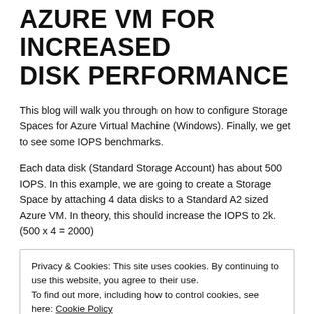AZURE VM FOR INCREASED DISK PERFORMANCE
This blog will walk you through on how to configure Storage Spaces for Azure Virtual Machine (Windows). Finally, we get to see some IOPS benchmarks.
Each data disk (Standard Storage Account) has about 500 IOPS. In this example, we are going to create a Storage Space by attaching 4 data disks to a Standard A2 sized Azure VM. In theory, this should increase the IOPS to 2k. (500 x 4 = 2000)
Privacy & Cookies: This site uses cookies. By continuing to use this website, you agree to their use.
To find out more, including how to control cookies, see here: Cookie Policy
[Close and accept]
Step 1: Attach four data disks to your virtual machine